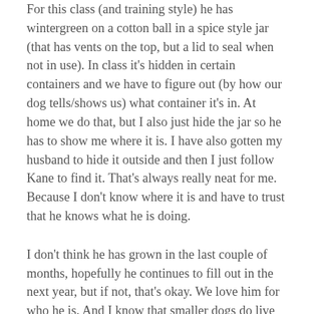For this class (and training style) he has wintergreen on a cotton ball in a spice style jar (that has vents on the top, but a lid to seal when not in use). In class it's hidden in certain containers and we have to figure out (by how our dog tells/shows us) what container it's in. At home we do that, but I also just hide the jar so he has to show me where it is. I have also gotten my husband to hide it outside and then I just follow Kane to find it. That's always really neat for me. Because I don't know where it is and have to trust that he knows what he is doing.
I don't think he has grown in the last couple of months, hopefully he continues to fill out in the next year, but if not, that's okay. We love him for who he is. And I know that smaller dogs do live longer generally. So maybe his size will work in our favor and he will live to be 15 or 16.
Rosco is 10 1/2 and although he is slowing down and is a